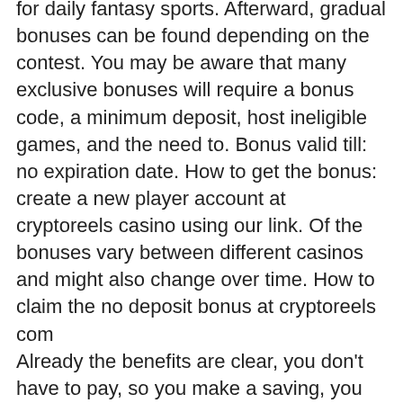for daily fantasy sports. Afterward, gradual bonuses can be found depending on the contest. You may be aware that many exclusive bonuses will require a bonus code, a minimum deposit, host ineligible games, and the need to. Bonus valid till: no expiration date. How to get the bonus: create a new player account at cryptoreels casino using our link. Of the bonuses vary between different casinos and might also change over time. How to claim the no deposit bonus at cryptoreels com
Already the benefits are clear, you don't have to pay, so you make a saving, you can still win real money, thus making a profit, and you can use the No Deposit Bonus on any variant of the roulette game, best online blackjack website. The bonus itself win the smaller of all available rewards. Slots of Vegas Bonus Coupon Codes May 202 15, 2021 The first bonus you should re is SOV25, odds of hitting on quick hits slot